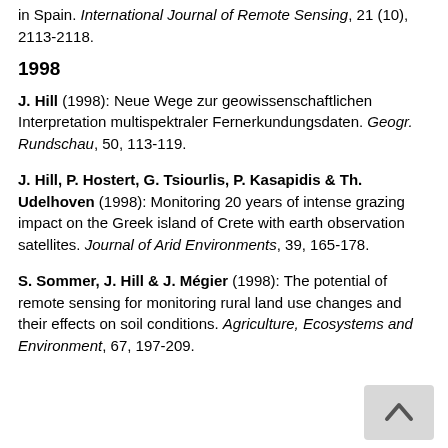in Spain. International Journal of Remote Sensing, 21 (10), 2113-2118.
1998
J. Hill (1998): Neue Wege zur geowissenschaftlichen Interpretation multispektraler Fernerkundungsdaten. Geogr. Rundschau, 50, 113-119.
J. Hill, P. Hostert, G. Tsiourlis, P. Kasapidis & Th. Udelhoven (1998): Monitoring 20 years of intense grazing impact on the Greek island of Crete with earth observation satellites. Journal of Arid Environments, 39, 165-178.
S. Sommer, J. Hill & J. Mégier (1998): The potential of remote sensing for monitoring rural land use changes and their effects on soil conditions. Agriculture, Ecosystems and Environment, 67, 197-209.